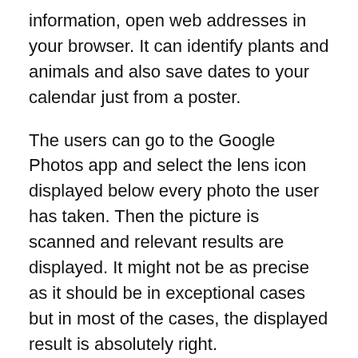information, open web addresses in your browser. It can identify plants and animals and also save dates to your calendar just from a poster.
The users can go to the Google Photos app and select the lens icon displayed below every photo the user has taken. Then the picture is scanned and relevant results are displayed. It might not be as precise as it should be in exceptional cases but in most of the cases, the displayed result is absolutely right.
This feature completely relies on machine learning and artificial intelligence to identify the objects and surroundings. It might not be available to all the Android devices at once as it is being released in batches, this might make some users wait a bit more. The company has also planned to extend